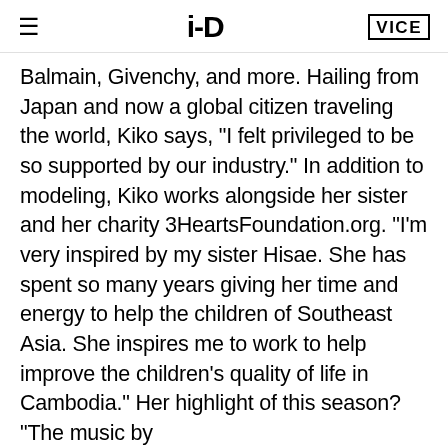≡   i-D   VICE
Balmain, Givenchy, and more. Hailing from Japan and now a global citizen traveling the world, Kiko says, "I felt privileged to be so supported by our industry." In addition to modeling, Kiko works alongside her sister and her charity 3HeartsFoundation.org. "I'm very inspired by my sister Hisae. She has spent so many years giving her time and energy to help the children of Southeast Asia. She inspires me to work to help improve the children's quality of life in Cambodia." Her highlight of this season? "The music by
[Figure (photo): Dark nighttime outdoor scene with light poles silhouetted against a dusk sky. Video player UI with time badge showing 58 and mute icon visible.]